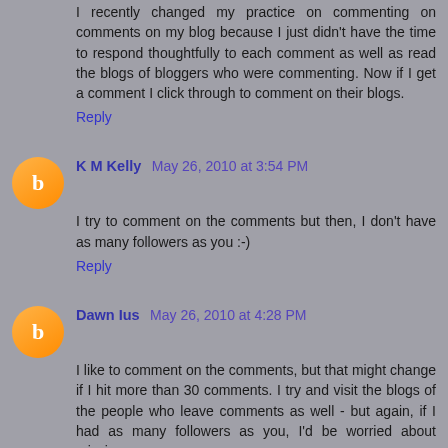I recently changed my practice on commenting on comments on my blog because I just didn't have the time to respond thoughtfully to each comment as well as read the blogs of bloggers who were commenting. Now if I get a comment I click through to comment on their blogs.
Reply
K M Kelly May 26, 2010 at 3:54 PM
I try to comment on the comments but then, I don't have as many followers as you :-)
Reply
Dawn Ius May 26, 2010 at 4:28 PM
I like to comment on the comments, but that might change if I hit more than 30 comments. I try and visit the blogs of the people who leave comments as well - but again, if I had as many followers as you, I'd be worried about missing someone.
Reply